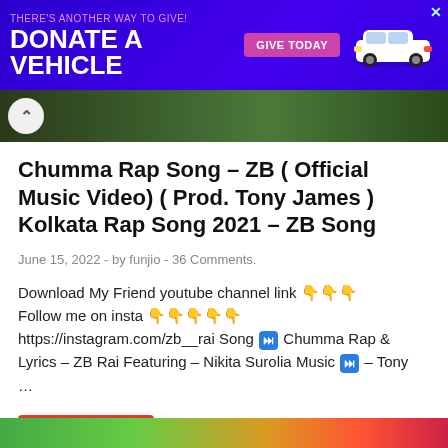[Figure (screenshot): Advertisement banner: dark purple background with text 'THERE'S ANOTHER WAY TO GIVE! DONATE A VEHICLE' and 'GIVE TODAY' button, white SUV car graphic, close X button]
[Figure (photo): Partial image strip showing a green outdoor scene, with a back arrow button on the left side]
Chumma Rap Song – ZB ( Official Music Video) ( Prod. Tony James ) Kolkata Rap Song 2021 – ZB Song
June 15, 2022  -  by funjio  -  36 Comments.
Download My Friend youtube channel link 👇👇👇 Follow me on insta 👇👇👇👇👇 https://instagram.com/zb__rai Song ⏭ Chumma Rap & Lyrics – ZB Rai Featuring – Nikita Surolia Music ⏭ – Tony ...
READ MORE
[Figure (photo): Partial colorful image strip at bottom of page]